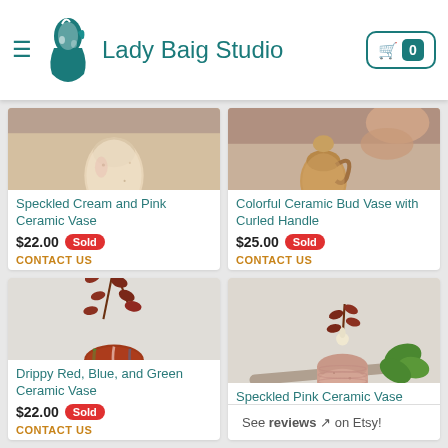Lady Baig Studio
[Figure (photo): Speckled Cream and Pink Ceramic Vase product photo]
Speckled Cream and Pink Ceramic Vase
$22.00 Sold
CONTACT US
[Figure (photo): Colorful Ceramic Bud Vase with Curled Handle product photo]
Colorful Ceramic Bud Vase with Curled Handle
$25.00 Sold
CONTACT US
[Figure (photo): Drippy Red, Blue, and Green Ceramic Vase product photo]
Drippy Red, Blue, and Green Ceramic Vase
$22.00 Sold
CONTACT US
[Figure (photo): Speckled Pink Ceramic Vase product photo]
Speckled Pink Ceramic Vase
See reviews on Etsy!